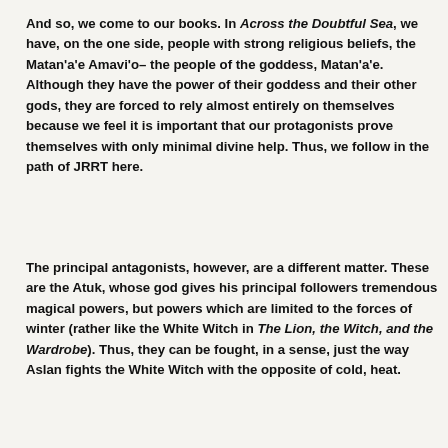And so, we come to our books. In Across the Doubtful Sea, we have, on the one side, people with strong religious beliefs, the Matan'a'e Amavi'o– the people of the goddess, Matan'a'e. Although they have the power of their goddess and their other gods, they are forced to rely almost entirely on themselves because we feel it is important that our protagonists prove themselves with only minimal divine help. Thus, we follow in the path of JRRT here.
The principal antagonists, however, are a different matter. These are the Atuk, whose god gives his principal followers tremendous magical powers, but powers which are limited to the forces of winter (rather like the White Witch in The Lion, the Witch, and the Wardrobe). Thus, they can be fought, in a sense, just the way Aslan fights the White Witch with the opposite of cold, heat.